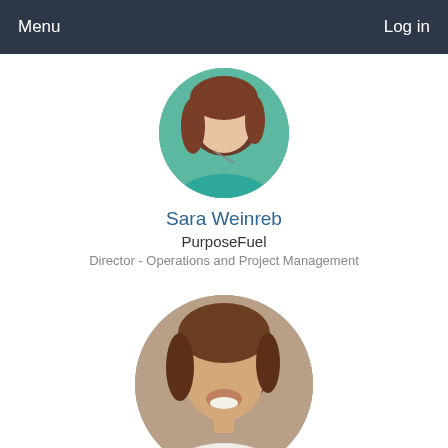Menu    Log in
[Figure (photo): Circular profile photo of Sara Weinreb, a woman with brown hair wearing a teal top]
Sara Weinreb
PurposeFuel
Director - Operations and Project Management
[Figure (photo): Circular profile photo of Roni Weiss, a smiling man with curly brown hair wearing a white shirt]
Roni Weiss